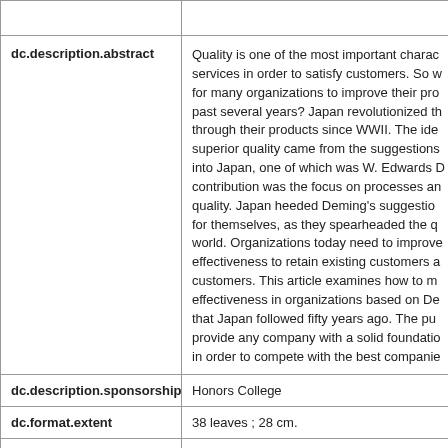| Field | Value |
| --- | --- |
|  |  |
| dc.description.abstract | Quality is one of the most important charac... services in order to satisfy customers. So w... for many organizations to improve their pro... past several years? Japan revolutionized th... through their products since WWII. The ide... superior quality came from the suggestions... into Japan, one of which was W. Edwards D... contribution was the focus on processes an... quality. Japan heeded Deming's suggestio... for themselves, as they spearheaded the q... world. Organizations today need to improve... effectiveness to retain existing customers a... customers. This article examines how to m... effectiveness in organizations based on De... that Japan followed fifty years ago. The pu... provide any company with a solid foundatio... in order to compete with the best companie... |
| dc.description.sponsorship | Honors College |
| dc.format.extent | 38 leaves ; 28 cm. |
|  |  |